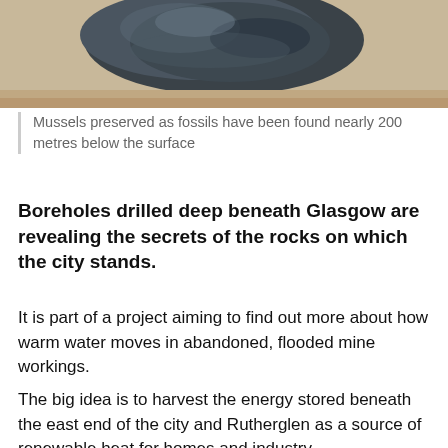[Figure (photo): Close-up photograph of dark grey/blue mussel fossils on a light wooden surface, partially cropped at top of page]
Mussels preserved as fossils have been found nearly 200 metres below the surface
Boreholes drilled deep beneath Glasgow are revealing the secrets of the rocks on which the city stands.
It is part of a project aiming to find out more about how warm water moves in abandoned, flooded mine workings.
The big idea is to harvest the energy stored beneath the east end of the city and Rutherglen as a source of renewable heat for homes and industry.
It is centred on an observatory that studiously avoids looking at the heavens.
The UK Geoenergy Observatory in Glasgow is looking in